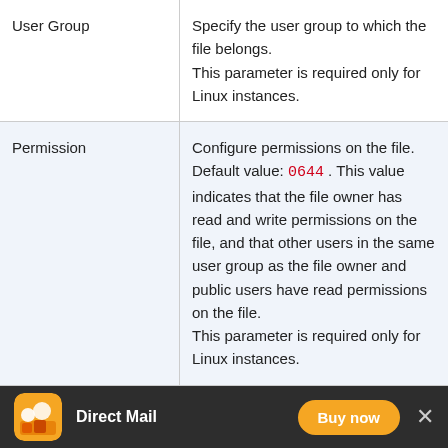| Parameter | Description |
| --- | --- |
| User Group | Specify the user group to which the file belongs.
This parameter is required only for Linux instances. |
| Permission | Configure permissions on the file.
Default value: 0644 . This value indicates that the file owner has read and write permissions on the file, and that other users in the same user group as the file owner and public users have read permissions on the file.
This parameter is required only for Linux instances. |
| Overwrite | Specify whether to overwrite the file that file in... |